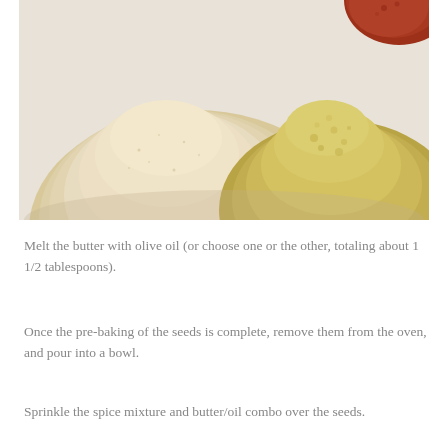[Figure (photo): Close-up photo of piles of spices and ground ingredients on a white surface: a large mound of pale tan/cream colored ground ingredient (likely almond flour or breadcrumbs) in the center-left, a yellow-green mound (likely mustard powder or ground spice) on the right, and a small reddish-orange spice (like paprika or chili) partially visible in the upper right corner.]
Melt the butter with olive oil (or choose one or the other, totaling about 1 1/2 tablespoons).
Once the pre-baking of the seeds is complete, remove them from the oven, and pour into a bowl.
Sprinkle the spice mixture and butter/oil combo over the seeds.